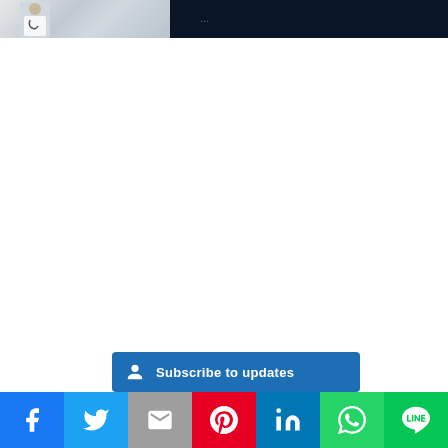[Figure (photo): Hero image: doctor in white coat on left (photo), dark navy background on right with partial text visible]
[Figure (infographic): Subscribe to updates button with user/bell icon, blue background]
Social share bar: Facebook, Twitter, Gmail, Pinterest, LinkedIn, WhatsApp, LINE